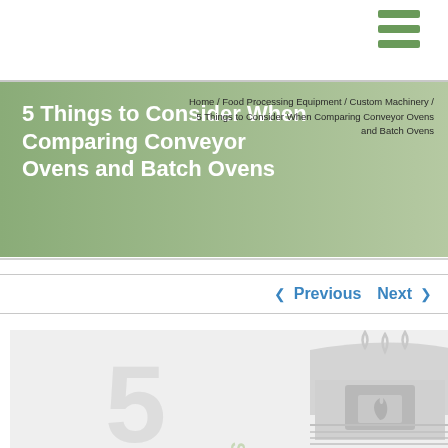5 Things to Consider When Comparing Conveyor Ovens and Batch Ovens
Home / Food Processing Equipment / Custom Machinery / 5 Things to Consider When Comparing Conveyor Ovens and Batch Ovens
« Previous   Next »
[Figure (illustration): Decorative illustration featuring a large number '5' and 'STEPS' text with a stylized oven graphic with steam rising, all in light gray tones on a light gray background.]